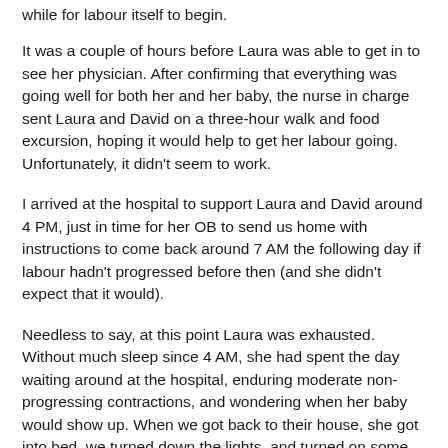while for labour itself to begin.
It was a couple of hours before Laura was able to get in to see her physician. After confirming that everything was going well for both her and her baby, the nurse in charge sent Laura and David on a three-hour walk and food excursion, hoping it would help to get her labour going. Unfortunately, it didn't seem to work.
I arrived at the hospital to support Laura and David around 4 PM, just in time for her OB to send us home with instructions to come back around 7 AM the following day if labour hadn't progressed before then (and she didn't expect that it would).
Needless to say, at this point Laura was exhausted. Without much sleep since 4 AM, she had spent the day waiting around at the hospital, enduring moderate non-progressing contractions, and wondering when her baby would show up. When we got back to their house, she got into bed, we turned down the lights, and turned on some peaceful music. I did one more round of induction acupuncture and then tip-toed downstairs to tell David to call me as soon as things began to progress or whenever they felt they needed more support. I left and went to a restaurant to treat myself to some dinner. Hey, I thought, it's very likely I won't be sleeping through the